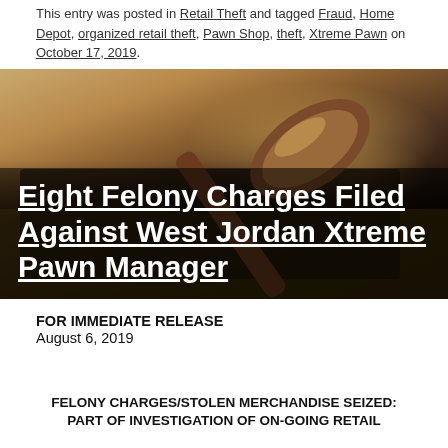This entry was posted in Retail Theft and tagged Fraud, Home Depot, organized retail theft, Pawn Shop, theft, Xtreme Pawn on October 17, 2019.
[Figure (photo): Photo of a wooden judge's gavel resting on a dark surface, with the headline 'Eight Felony Charges Filed Against West Jordan Xtreme Pawn Manager' overlaid in bold white underlined text on a dark semi-transparent background.]
FOR IMMEDIATE RELEASE
August 6, 2019
FELONY CHARGES/STOLEN MERCHANDISE SEIZED: PART OF INVESTIGATION OF ON-GOING RETAIL